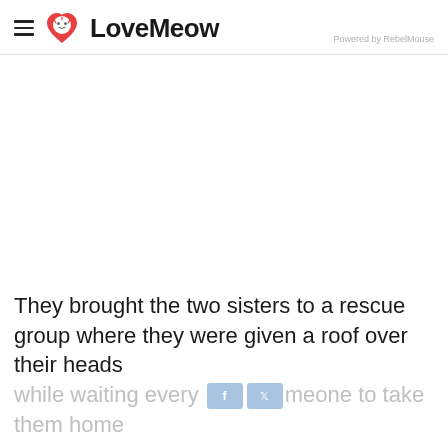LoveMeow — Powered by RebelMouse
[Figure (photo): Large white/blank image placeholder area in the center of the page]
They brought the two sisters to a rescue group where they were given a roof over their heads while waiting every [f] [twitter] someone to take them home